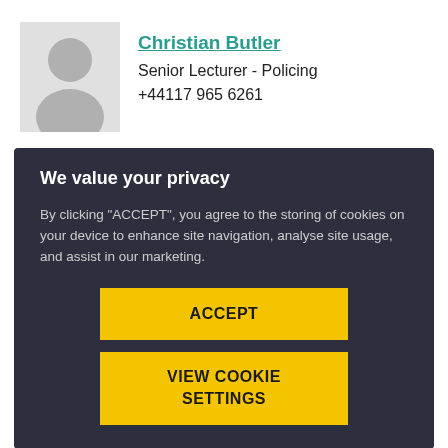[Figure (photo): Grey placeholder avatar silhouette image for Christian Butler]
Christian Butler
Senior Lecturer - Policing
+44117 965 6261
We value your privacy
By clicking “ACCEPT”, you agree to the storing of cookies on your device to enhance site navigation, analyse site usage, and assist in our marketing.
ACCEPT
VIEW COOKIE SETTINGS
[Figure (photo): Partial thumbnail image at bottom left corner]